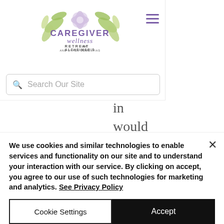[Figure (logo): Caregiver Wellness Retreat for Alzheimer's and Other Dementias logo with floral/leaf decoration]
Search Our Site
...in would e sad. ven in and you smile and say hi. That connection is huge. Like I had to learn how to realize when people were smiling,
We use cookies and similar technologies to enable services and functionality on our site and to understand your interaction with our service. By clicking on accept, you agree to our use of such technologies for marketing and analytics. See Privacy Policy
Cookie Settings
Accept